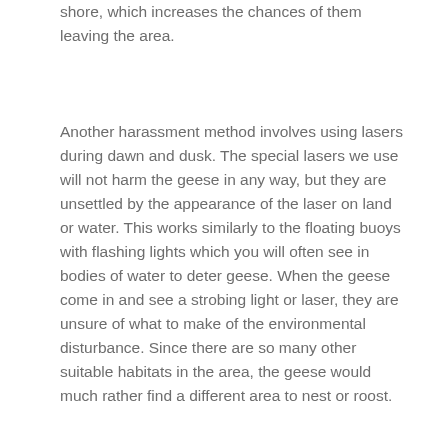shore, which increases the chances of them leaving the area.
Another harassment method involves using lasers during dawn and dusk. The special lasers we use will not harm the geese in any way, but they are unsettled by the appearance of the laser on land or water. This works similarly to the floating buoys with flashing lights which you will often see in bodies of water to deter geese. When the geese come in and see a strobing light or laser, they are unsure of what to make of the environmental disturbance. Since there are so many other suitable habitats in the area, the geese would much rather find a different area to nest or roost.